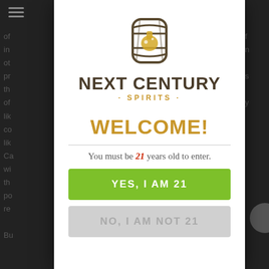[Figure (logo): Next Century Spirits logo: a barrel with a flask/potion icon inside, above the text NEXT CENTURY in dark brown bold uppercase, and SPIRITS in gold uppercase with dots on each side]
WELCOME!
You must be 21 years old to enter.
YES, I AM 21
NO, I AM NOT 21